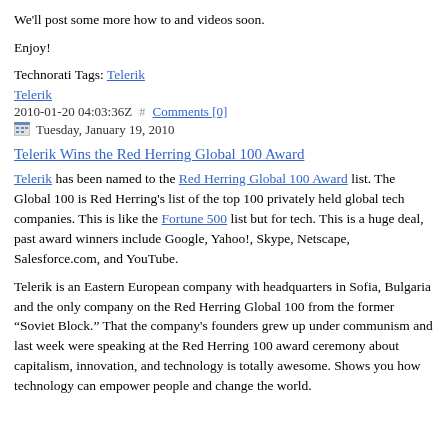We'll post some more how to and videos soon.
Enjoy!
Technorati Tags: Telerik
Telerik
2010-01-20 04:03:36Z  #  Comments [0]
📅 Tuesday, January 19, 2010
Telerik Wins the Red Herring Global 100 Award
Telerik has been named to the Red Herring Global 100 Award list. The Global 100 is Red Herring's list of the top 100 privately held global tech companies. This is like the Fortune 500 list but for tech. This is a huge deal, past award winners include Google, Yahoo!, Skype, Netscape, Salesforce.com, and YouTube.
Telerik is an Eastern European company with headquarters in Sofia, Bulgaria and the only company on the Red Herring Global 100 from the former “Soviet Block.” That the company's founders grew up under communism and last week were speaking at the Red Herring 100 award ceremony about capitalism, innovation, and technology is totally awesome. Shows you how technology can empower people and change the world.